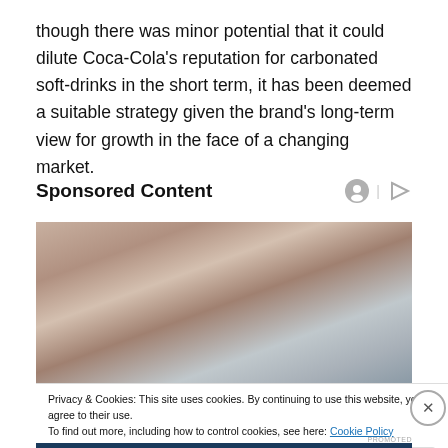though there was minor potential that it could dilute Coca-Cola's reputation for carbonated soft-drinks in the short term, it has been deemed a suitable strategy given the brand's long-term view for growth in the face of a changing market.
Sponsored Content
[Figure (photo): A person sitting with knees up and head bowed, photographed from the waist down, with blurred grey background suggesting a bedroom or couch setting.]
Privacy & Cookies: This site uses cookies. By continuing to use this website, you agree to their use.
To find out more, including how to control cookies, see here: Cookie Policy